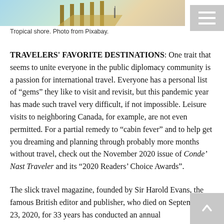[Figure (photo): Tropical shore photo showing a wooden pier/dock extending toward turquoise water, partially visible at the top of the page.]
Tropical shore. Photo from Pixabay.
TRAVELERS' FAVORITE DESTINATIONS: One trait that seems to unite everyone in the public diplomacy community is a passion for international travel. Everyone has a personal list of “gems” they like to visit and revisit, but this pandemic year has made such travel very difficult, if not impossible. Leisure visits to neighboring Canada, for example, are not even permitted. For a partial remedy to “cabin fever” and to help get you dreaming and planning through probably more months without travel, check out the November 2020 issue of Conde’ Nast Traveler and its “2020 Readers’ Choice Awards”.
The slick travel magazine, founded by Sir Harold Evans, the famous British editor and publisher, who died on September 23, 2020, for 33 years has conducted an annual